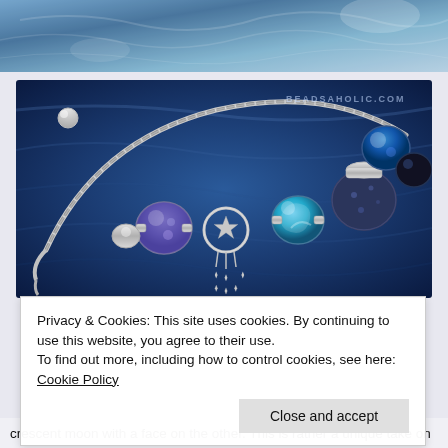[Figure (photo): Partial top photograph showing blue textured rocky or water surface]
[Figure (photo): Jewelry bracelet with blue and silver beads including star charm, glass beads in blue and teal, and silver chain on blue textured background. Watermark reads BEADSAHOLIC.COM]
Privacy & Cookies: This site uses cookies. By continuing to use this website, you agree to their use.
To find out more, including how to control cookies, see here: Cookie Policy
Close and accept
crescent moon with a face on the other. This is rather a unique take on